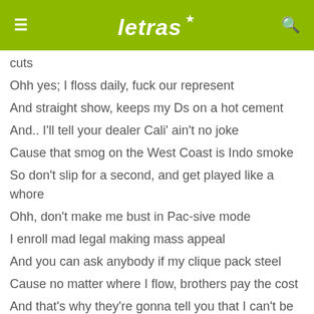letras
cuts
Ohh yes; I floss daily, fuck our represent
And straight show, keeps my Ds on a hot cement
And.. I'll tell your dealer Cali' ain't no joke
Cause that smog on the West Coast is Indo smoke
So don't slip for a second, and get played like a whore
Ohh, don't make me bust in Pac-sive mode
I enroll mad legal making mass appeal
And you can ask anybody if my clique pack steel
Cause no matter where I flow, brothers pay the cost
And that's why they're gonna tell you that I can't be toast
Man, you didn't know my music, didn't know my skin
But you can win, listen to the the Mexicans